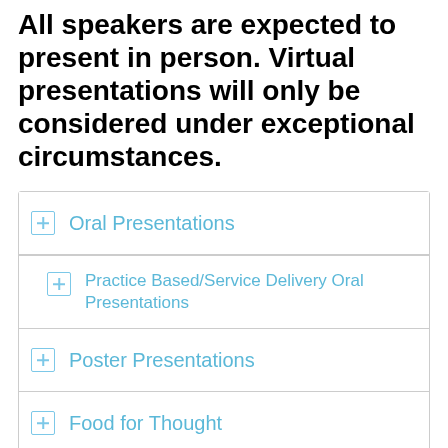All speakers are expected to present in person. Virtual presentations will only be considered under exceptional circumstances.
Oral Presentations
Practice Based/Service Delivery Oral Presentations
Poster Presentations
Food for Thought
Presenter Symposia
Panel Symposia